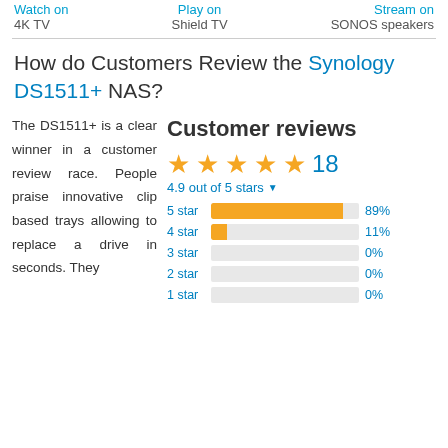Watch on 4K TV   Play on Shield TV   Stream on SONOS speakers
How do Customers Review the Synology DS1511+ NAS?
The DS1511+ is a clear winner in a customer review race. People praise innovative clip based trays allowing to replace a drive in seconds. They
Customer reviews
4.9 out of 5 stars
[Figure (bar-chart): Star ratings]